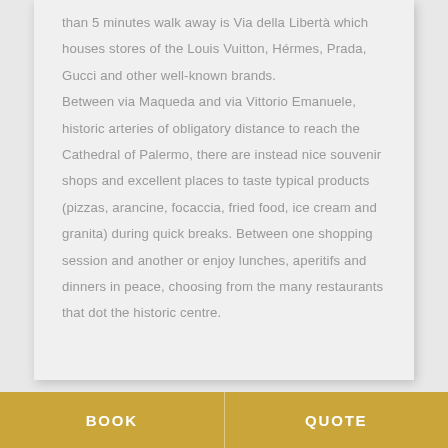than 5 minutes walk away is Via della Libertà which houses stores of the Louis Vuitton, Hérmes, Prada, Gucci and other well-known brands. Between via Maqueda and via Vittorio Emanuele, historic arteries of obligatory distance to reach the Cathedral of Palermo, there are instead nice souvenir shops and excellent places to taste typical products (pizzas, arancine, focaccia, fried food, ice cream and granita) during quick breaks. Between one shopping session and another or enjoy lunches, aperitifs and dinners in peace, choosing from the many restaurants that dot the historic centre.
BOOK
QUOTE